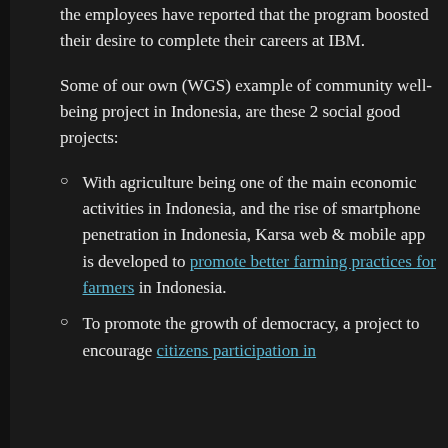the employees have reported that the program boosted their desire to complete their careers at IBM.
Some of our own (WGS) example of community well-being project in Indonesia, are these 2 social good projects:
With agriculture being one of the main economic activities in Indonesia, and the rise of smartphone penetration in Indonesia, Karsa web & mobile app is developed to promote better farming practices for farmers in Indonesia.
To promote the growth of democracy, a project to encourage citizens participation in